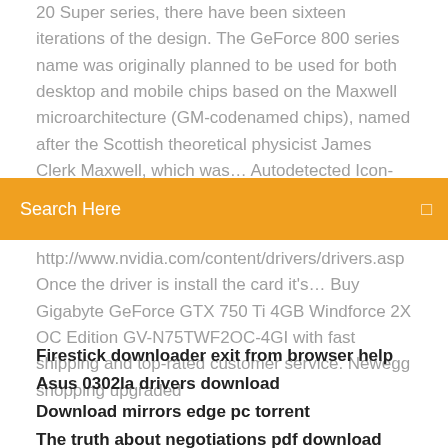20 Super series, there have been sixteen iterations of the design. The GeForce 800 series name was originally planned to be used for both desktop and mobile chips based on the Maxwell microarchitecture (GM-codenamed chips), named after the Scottish theoretical physicist James Clerk Maxwell, which was… Autodetected Icon-cross.png - 3D Support Icon-cross.png
Search Here
http://www.nvidia.com/content/drivers/drivers.asp Once the driver is install the card it's… Buy Gigabyte GeForce GTX 750 Ti 4GB Windforce 2X OC Edition GV-N75TWF2OC-4GI with fast shipping and top-rated customer service. Newegg shopping upgraded
Firestick downloader exit from browser help
Asus 0302la drivers download
Download mirrors edge pc torrent
The truth about negotiations pdf download